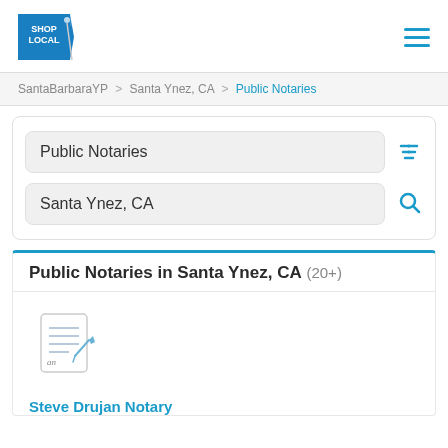[Figure (logo): Shop Local tag logo in blue with white text]
SantaBarbaraYP > Santa Ynez, CA > Public Notaries
Public Notaries
Santa Ynez, CA
Public Notaries in Santa Ynez, CA (20+)
[Figure (illustration): Notary document icon with pen and signature]
Steve Drujan Notary